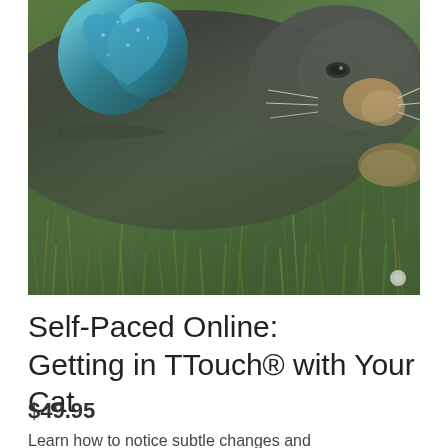[Figure (photo): A gray tabby cat lying in green grass outdoors, with a blue heart-shaped toy visible on the left side. The cat's face and whiskers are partially visible on the right side of the image.]
Self-Paced Online: Getting in TTouch® with Your Cat
$49.95
Learn how to notice subtle changes and